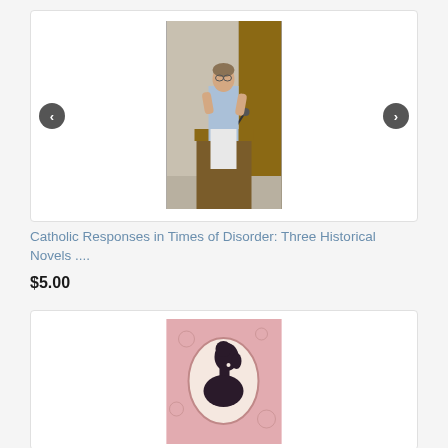[Figure (photo): Person speaking at a podium, wearing a light blue top and white pants, in a room with wooden paneling. Navigation arrows (left/right) on either side of the image carousel.]
Catholic Responses in Times of Disorder: Three Historical Novels ....
$5.00
[Figure (illustration): Pink book cover with a silhouette cameo of a woman in profile, oval frame on decorative floral background.]